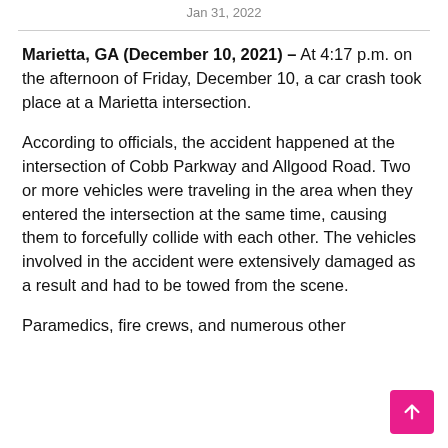Jan 31, 2022
Marietta, GA (December 10, 2021) – At 4:17 p.m. on the afternoon of Friday, December 10, a car crash took place at a Marietta intersection.
According to officials, the accident happened at the intersection of Cobb Parkway and Allgood Road. Two or more vehicles were traveling in the area when they entered the intersection at the same time, causing them to forcefully collide with each other. The vehicles involved in the accident were extensively damaged as a result and had to be towed from the scene.
Paramedics, fire crews, and numerous other